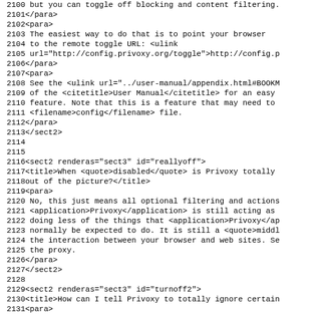Source code / XML markup listing showing lines 2100-2131 of a document about Privoxy configuration
| line | code |
| --- | --- |
| 2100 |  but you can toggle off blocking and content filtering. |
| 2101 | </para> |
| 2102 | <para> |
| 2103 |  The easiest way to do that is to point your browser |
| 2104 |  to the remote toggle URL: <ulink |
| 2105 |  url="http://config.privoxy.org/toggle">http://config.p |
| 2106 | </para> |
| 2107 | <para> |
| 2108 |  See the <ulink url="../user-manual/appendix.html#BOOKM |
| 2109 |  of the <citetitle>User Manual</citetitle> for an easy |
| 2110 |  feature. Note that this is a feature that may need to |
| 2111 |  <filename>config</filename> file. |
| 2112 | </para> |
| 2113 | </sect2> |
| 2114 |  |
| 2115 |  |
| 2116 | <sect2 renderas="sect3" id="reallyoff"> |
| 2117 | <title>When <quote>disabled</quote> is Privoxy totally |
| 2118 | out of the picture?</title> |
| 2119 | <para> |
| 2120 |  No, this just means all optional filtering and actions |
| 2121 |  <application>Privoxy</application> is still acting as |
| 2122 |  doing less of the things that <application>Privoxy</ap |
| 2123 |  normally be expected to do. It is still a <quote>middl |
| 2124 |  the interaction between your browser and web sites. Se |
| 2125 |  the proxy. |
| 2126 | </para> |
| 2127 | </sect2> |
| 2128 |  |
| 2129 | <sect2 renderas="sect3" id="turnoff2"> |
| 2130 | <title>How can I tell Privoxy to totally ignore certain |
| 2131 | <para> |